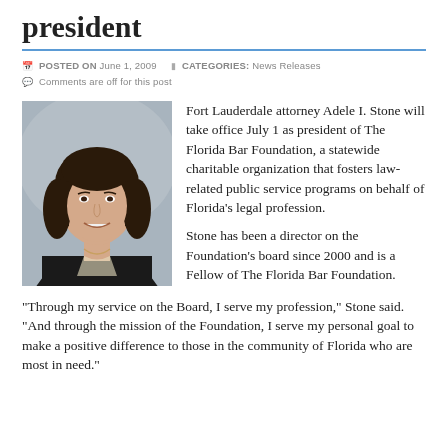president
POSTED ON JUNE 1, 2009   CATEGORIES: NEWS RELEASES   COMMENTS ARE OFF FOR THIS POST
[Figure (photo): Professional headshot of Adele I. Stone, a woman with dark brown shoulder-length hair, wearing a dark blazer and a necklace, smiling against a grey background.]
Fort Lauderdale attorney Adele I. Stone will take office July 1 as president of The Florida Bar Foundation, a statewide charitable organization that fosters law-related public service programs on behalf of Florida's legal profession.

Stone has been a director on the Foundation's board since 2000 and is a Fellow of The Florida Bar Foundation.
"Through my service on the Board, I serve my profession," Stone said. "And through the mission of the Foundation, I serve my personal goal to make a positive difference to those in the community of Florida who are most in need."